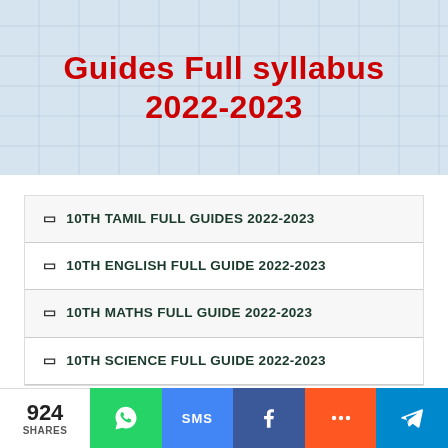[Figure (illustration): Banner with tiled/grid background pattern in light blue-grey, with large bold red text reading 'Guides Full syllabus 2022-2023']
🔲 10TH TAMIL FULL GUIDES 2022-2023
🔲 10TH ENGLISH FULL GUIDE 2022-2023
🔲 10TH MATHS FULL GUIDE 2022-2023
🔲 10TH SCIENCE FULL GUIDE 2022-2023
🔲 10TH SOCIAL FULL GUIDE 2022-2023
🔲 12TH ALL SUBJECTS FULL GUIDE STUDY MATERIALS 2022-2023
924 SHARES | WhatsApp | SMS | Facebook | More | Telegram